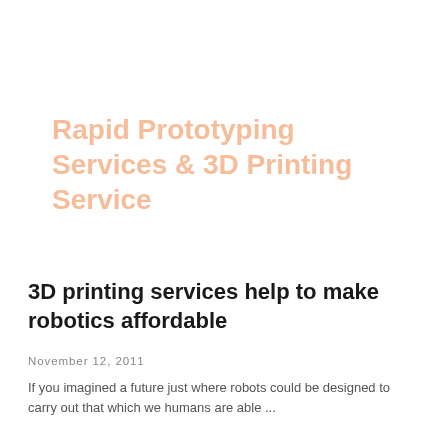Rapid Prototyping Services & 3D Printing Service
3D printing services help to make robotics affordable
November 12, 2011
If you imagined a future just where robots could be designed to carry out that which we humans are able ...